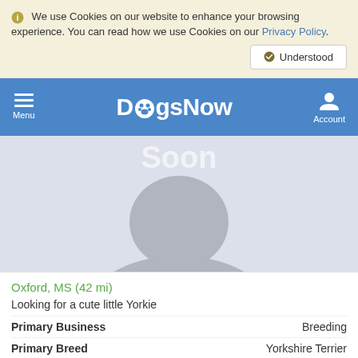We use Cookies on our website to enhance your browsing experience. You can read how we use Cookies on our Privacy Policy.
Understood
DogsNow — Menu | Account
[Figure (photo): Placeholder silhouette image with text 'Soon' overlaid, representing a dog listing photo not yet available]
Oxford, MS (42 mi)
Looking for a cute little Yorkie
| Field | Value |
| --- | --- |
| Primary Business | Breeding |
| Primary Breed | Yorkshire Terrier |
| Breeding | $500.00 / 550 |
Any Day of the Week